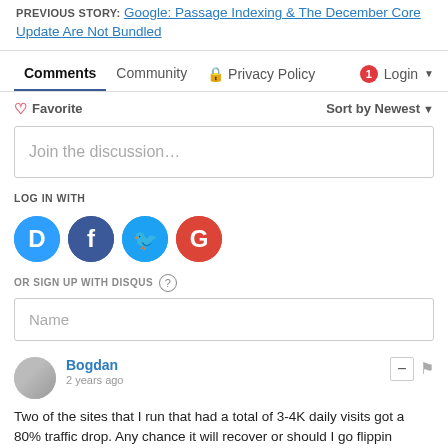PREVIOUS STORY: Google: Passage Indexing & The December Core Update Are Not Bundled
Comments | Community | Privacy Policy | Login
♡ Favorite   Sort by Newest
Join the discussion…
LOG IN WITH
[Figure (other): Social login icons: Disqus (D), Facebook (f), Twitter bird, Google (G)]
OR SIGN UP WITH DISQUS ?
Name
Bogdan
2 years ago
Two of the sites that I run that had a total of 3-4K daily visits got a 80% traffic drop. Any chance it will recover or should I go flippin